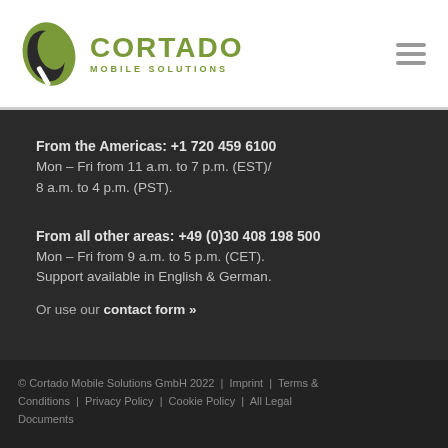[Figure (logo): Cortado Mobile Solutions logo with green leaf icon and green text]
From the Americas: +1 720 459 6100
Mon – Fri from 11 a.m. to 7 p.m. (EST)/ 8 a.m. to 4 p.m. (PST).
From all other areas: +49 (0)30 408 198 500
Mon – Fri from 9 a.m. to 5 p.m. (CET).
Support available in English & German.
Or use our contact form »
© Cortado Mobile Solutions GmbH 2022  |  Imprint  |  Terms & Conditions  |  Privacy Policy  |  Cookie Policy  |  All Legal Documents